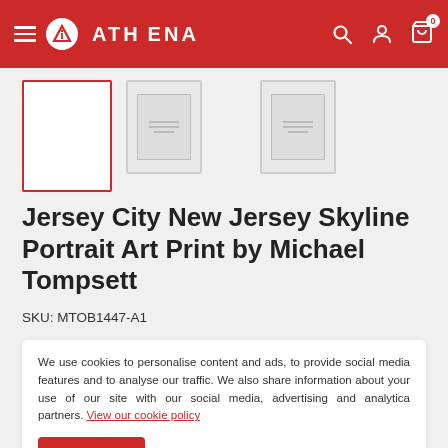[Figure (logo): Athena brand header with hamburger menu, Athena logo (red circle with A triangle icon and ATHENA wordmark in white), search icon, user icon, cart icon with badge showing 0]
[Figure (other): Three product thumbnail images: first selected with red border (white/blank), second and third are smaller gray placeholder thumbnails]
Jersey City New Jersey Skyline Portrait Art Print by Michael Tompsett
SKU: MTOB1447-A1
We use cookies to personalise content and ads, to provide social media features and to analyse our traffic. We also share information about your use of our site with our social media, advertising and analytica partners. View our cookie policy
Accept